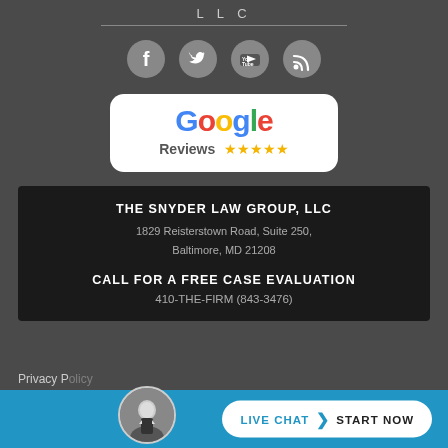LLC
[Figure (infographic): Four circular social media icons: Facebook, Twitter, YouTube, RSS feed]
[Figure (logo): Google Reviews logo with 5 gold stars on white rounded rectangle background]
THE SNYDER LAW GROUP, LLC
1829 Reisterstown Road, Suite 250,
Baltimore, MD 21208

CALL FOR A FREE CASE EVALUATION
410-THE-FIRM (843-3476)
Privacy P...
[Figure (photo): Circular photo of a man in a suit (attorney headshot)]
LIVE CHAT  START NOW